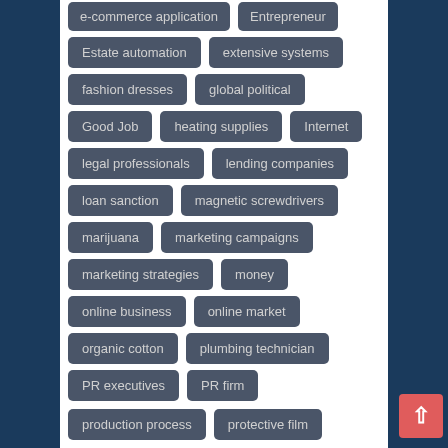e-commerce application
Entrepreneur
Estate automation
extensive systems
fashion dresses
global political
Good Job
heating supplies
Internet
legal professionals
lending companies
loan sanction
magnetic screwdrivers
marijuana
marketing campaigns
marketing strategies
money
online business
online market
organic cotton
plumbing technician
PR executives
PR firm
production process
protective film